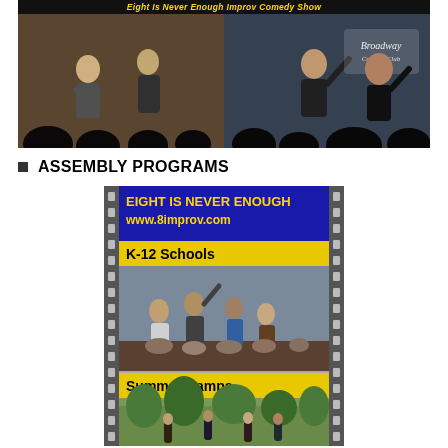[Figure (photo): Two photos side by side of improv comedy performers on stage at Broadway Comedy Club, with performers doing physical comedy acts in front of an audience]
ASSEMBLY PROGRAMS
[Figure (illustration): Film strip style promotional image for Eight Is Never Enough improv comedy showing blue banner with title and website www.8improv.com, then K-12 Schools label with photo of performers on school stage, then Summer Camps label with outdoor photo]